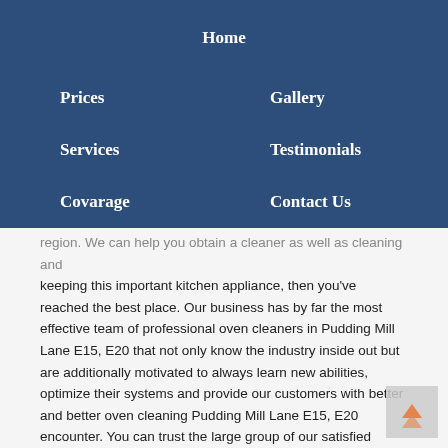Home
Prices
Gallery
Services
Testimonials
Covarage
Contact Us
region. We can help you obtain a cleaner as well as cleaning and keeping this important kitchen appliance, then you've reached the best place. Our business has by far the most effective team of professional oven cleaners in Pudding Mill Lane E15, E20 that not only know the industry inside out but are additionally motivated to always learn new abilities, optimize their systems and provide our customers with better and better oven cleaning Pudding Mill Lane E15, E20 encounter. You can trust the large group of our satisfied customers who all send positive feedback about our work, that we're the best choice for both home and business owners looking for complete oven cleaning services. We keep our standards high and use only state of the art gear and cleaning products. Our large fleet of vans and experts driving them works on a very flexible schedule to